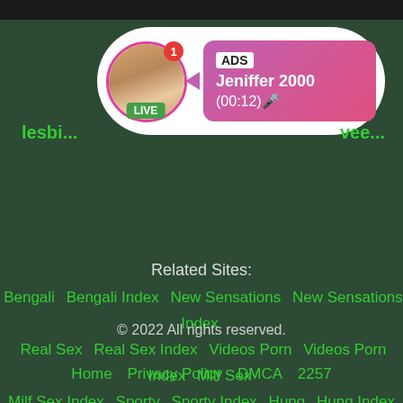[Figure (screenshot): Advertisement bubble with avatar circle showing LIVE badge, notification badge with arrow pointing to pink gradient ad panel showing ADS label, Jeniffer 2000 name and (00:12) timer]
lesbi...
vee...
Related Sites:
Bengali  Bengali Index  New Sensations  New Sensations Index
Real Sex  Real Sex Index  Videos Porn  Videos Porn Index  Milf Sex
Milf Sex Index  Sporty  Sporty Index  Hung  Hung Index
Forced Femdom  Forced Femdom Index  Free Fuck  Free Fuck Index
Best Porn Videos  Best Porn Videos Index
© 2022 All rights reserved.
Home  Privacy Policy  DMCA  2257